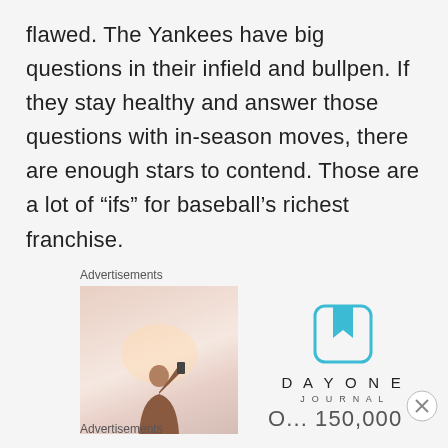flawed. The Yankees have big questions in their infield and bullpen. If they stay healthy and answer those questions with in-season moves, there are enough stars to contend. Those are a lot of “ifs” for baseball’s richest franchise.
Advertisements
[Figure (photo): A person photographing against a bright sky, viewed from behind, partially cropped advertisement image]
[Figure (logo): Day One Journal logo with teal bookmark icon and spaced letter text]
O... 150,000
Advertisements